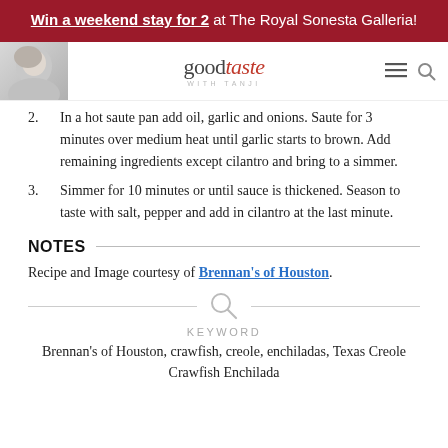Win a weekend stay for 2 at The Royal Sonesta Galleria!
[Figure (logo): goodtaste with Tanji logo with woman photo on left, menu and search icons on right]
2. In a hot saute pan add oil, garlic and onions. Saute for 3 minutes over medium heat until garlic starts to brown. Add remaining ingredients except cilantro and bring to a simmer.
3. Simmer for 10 minutes or until sauce is thickened. Season to taste with salt, pepper and add in cilantro at the last minute.
NOTES
Recipe and Image courtesy of Brennan's of Houston.
KEYWORD
Brennan's of Houston, crawfish, creole, enchiladas, Texas Creole Crawfish Enchilada